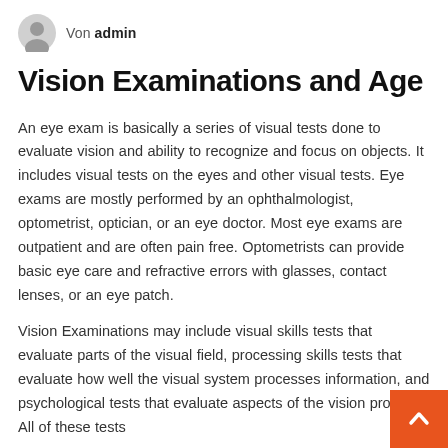Von admin
Vision Examinations and Age
An eye exam is basically a series of visual tests done to evaluate vision and ability to recognize and focus on objects. It includes visual tests on the eyes and other visual tests. Eye exams are mostly performed by an ophthalmologist, optometrist, optician, or an eye doctor. Most eye exams are outpatient and are often pain free. Optometrists can provide basic eye care and refractive errors with glasses, contact lenses, or an eye patch.
Vision Examinations may include visual skills tests that evaluate parts of the visual field, processing skills tests that evaluate how well the visual system processes information, and psychological tests that evaluate aspects of the vision process. All of these tests